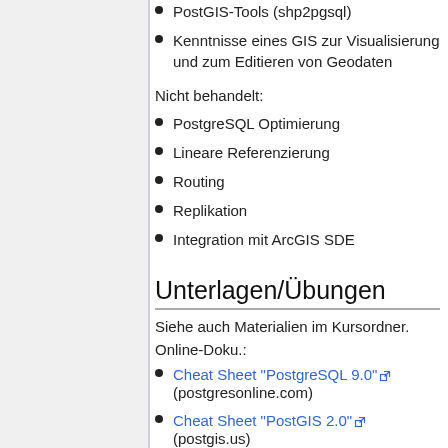PostGIS-Tools (shp2pgsql)
Kenntnisse eines GIS zur Visualisierung und zum Editieren von Geodaten
Nicht behandelt:
PostgreSQL Optimierung
Lineare Referenzierung
Routing
Replikation
Integration mit ArcGIS SDE
Unterlagen/Übungen
Siehe auch Materialien im Kursordner.
Online-Doku.:
Cheat Sheet "PostgreSQL 9.0" (postgresonline.com)
Cheat Sheet "PostGIS 2.0" (postgis.us)